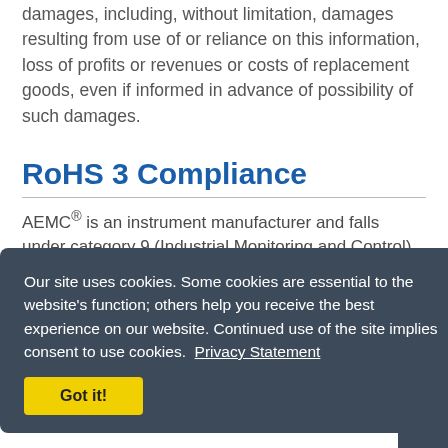damages, including, without limitation, damages resulting from use of or reliance on this information, loss of profits or revenues or costs of replacement goods, even if informed in advance of possibility of such damages.
RoHS 3 Compliance
AEMC® is an instrument manufacturer and falls under category 9 (Industrial Monitoring and Control) of the RoHS3 compliance requirements. Regarding Lead content we comply with exemption b(a) which allows up to 4% by weight until July 21, 2024. We are well below that level. Regarding all
Our site uses cookies. Some cookies are essential to the website's function; others help you receive the best experience on our website. Continued use of the site implies consent to use cookies. Privacy Statement